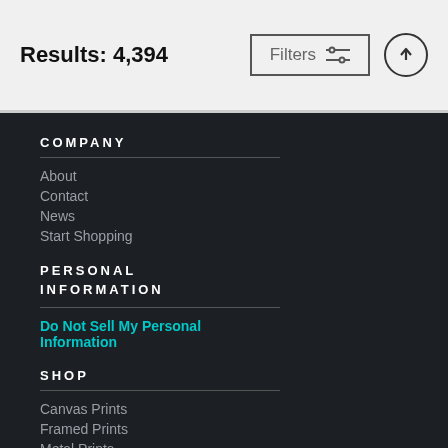Results: 4,394
[Figure (screenshot): Filters button with sliders icon and up-arrow circle button]
COMPANY
About
Contact
News
Start Shopping
PERSONAL INFORMATION
Do Not Sell My Personal Information
SHOP
Canvas Prints
Framed Prints
Metal Prints